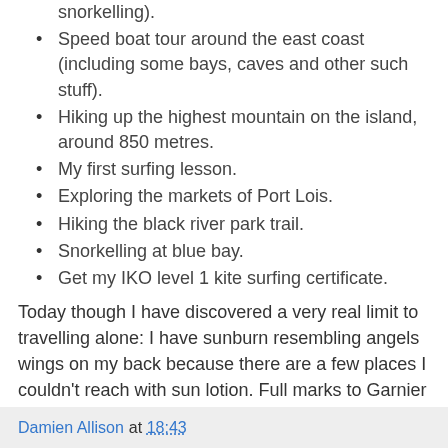Speed boat tour around the east coast (including some bays, caves and other such stuff).
Hiking up the highest mountain on the island, around 850 metres.
My first surfing lesson.
Exploring the markets of Port Lois.
Hiking the black river park trail.
Snorkelling at blue bay.
Get my IKO level 1 kite surfing certificate.
Today though I have discovered a very real limit to travelling alone: I have sunburn resembling angels wings on my back because there are a few places I couldn't reach with sun lotion. Full marks to Garnier for their Ambre Solaire 30+ which completely prevented me getting sun burned in the areas I can reach :-/ Perhaps the new generation of solo travellers need a suncream swap to go with the selfie stick...
Damien Allison at 18:43